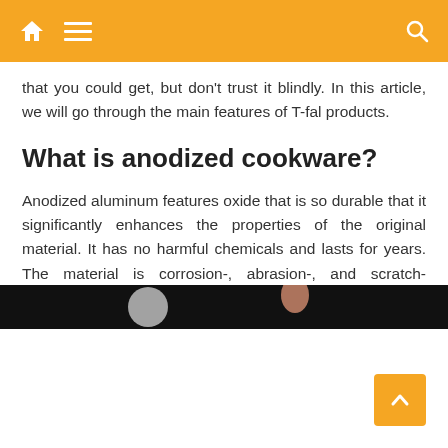Navigation header bar with home, menu, and search icons
that you could get, but don't trust it blindly. In this article, we will go through the main features of T-fal products.
What is anodized cookware?
Anodized aluminum features oxide that is so durable that it significantly enhances the properties of the original material. It has no harmful chemicals and lasts for years. The material is corrosion-, abrasion-, and scratch-resistant.
[Figure (photo): Dark strip showing partial view of cookware with a hand/finger visible]
[Figure (other): Golden back-to-top arrow button in bottom right corner]